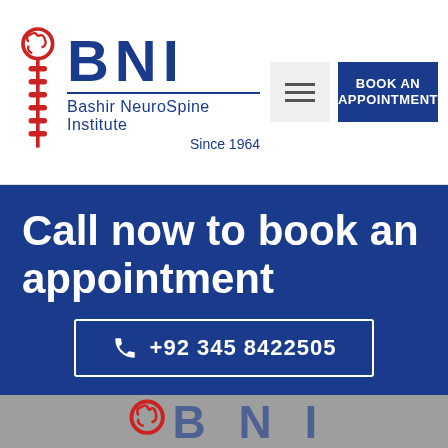[Figure (logo): BNI Bashir NeuroSpine Institute logo with red spine/brain graphic, blue BNI letters, and text 'Bashir NeuroSpine Institute Since 1964']
Call now to book an appointment
+92 345 8422505
[Figure (logo): BNI logo partial at bottom, gray background]